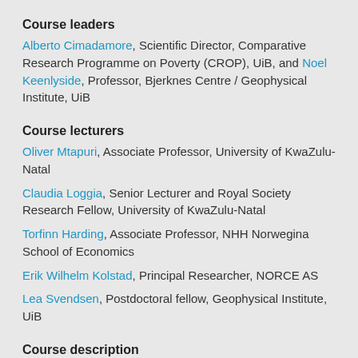Course leaders
Alberto Cimadamore, Scientific Director, Comparative Research Programme on Poverty (CROP), UiB, and Noel Keenlyside, Professor, Bjerknes Centre / Geophysical Institute, UiB
Course lecturers
Oliver Mtapuri, Associate Professor, University of KwaZulu-Natal
Claudia Loggia, Senior Lecturer and Royal Society Research Fellow, University of KwaZulu-Natal
Torfinn Harding, Associate Professor, NHH Norwegina School of Economics
Erik Wilhelm Kolstad, Principal Researcher, NORCE AS
Lea Svendsen, Postdoctoral fellow, Geophysical Institute, UiB
Course description